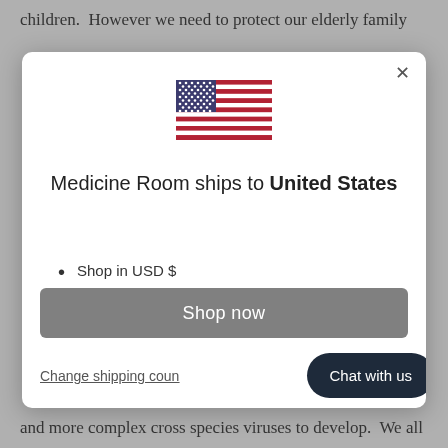children.  However we need to protect our elderly family
[Figure (screenshot): Modal dialog popup showing a US flag, text 'Medicine Room ships to United States', bullet points 'Shop in USD $' and 'Get shipping options for United States', a 'Shop now' button, a 'Change shipping country' link, and a 'Chat with us' button.]
and more complex cross species viruses to develop.  We all